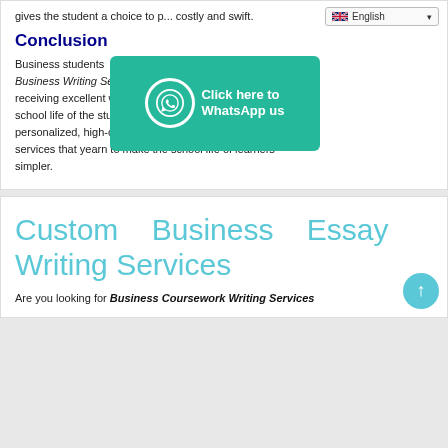gives the student a choice to p... costly and swift.
Conclusion
Business students ... Affordable Business Writing Se... front of receiving excellent w... form the school life of the student. We focus on providing personalized, high-quality business research writing services that yearn to make the school life of learners simpler.
[Figure (other): WhatsApp banner: teal background with phone icon and text 'Click here to WhatsApp us']
Custom Business Essay Writing Services
Are you looking for Business Coursework Writing Services...